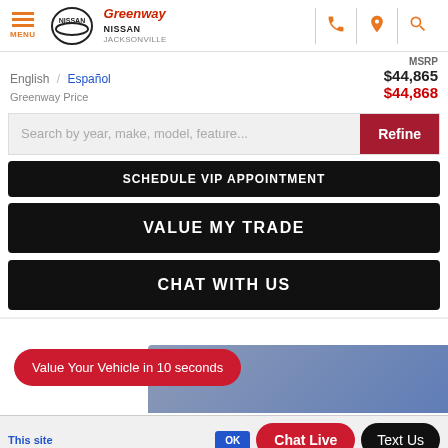MENU | NISSAN | Greenway Nissan Jacksonville
MSRP $44,865
Greenway Price $44,868
English / Español
Search by year, make, model, feature...
Refine
SCHEDULE VIP APPOINTMENT
VALUE MY TRADE
CHAT WITH US
Value Your Vehicle in 10 seconds
Chat Live
Text Us
This site